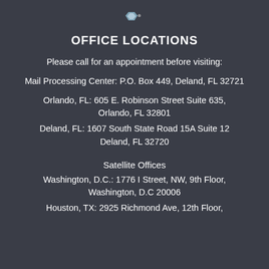[Figure (logo): Small decorative logo/icon at top center]
OFFICE LOCATIONS
Please call for an appointment before visiting:
Mail Processing Center: P.O. Box 449, Deland, FL 32721
Orlando, FL: 605 E. Robinson Street Suite 635, Orlando, FL 32801
Deland, FL: 1607 South State Road 15A Suite 12 Deland, FL 32720
Satellite Offices
Washington, D.C.: 1776 I Street, NW, 9th Floor, Washington, D.C 20006
Houston, TX: 2925 Richmond Ave, 12th Floor,